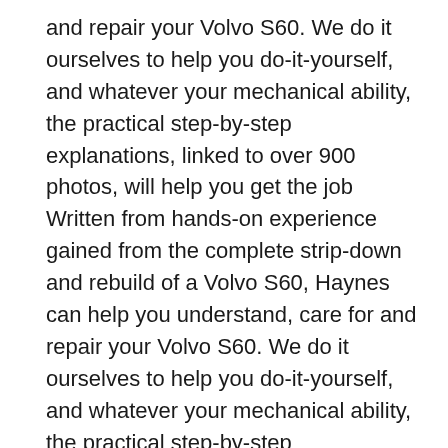and repair your Volvo S60. We do it ourselves to help you do-it-yourself, and whatever your mechanical ability, the practical step-by-step explanations, linked to over 900 photos, will help you get the job Written from hands-on experience gained from the complete strip-down and rebuild of a Volvo S60, Haynes can help you understand, care for and repair your Volvo S60. We do it ourselves to help you do-it-yourself, and whatever your mechanical ability, the practical step-by-step explanations, linked to over 900 photos, will help you get the job
Volvo S60 I, ManuГЎly servisnГ, Anglicky, 326 MB, ServisnГ manuГЎl S60 MY00-08 Haynes - anglicky, Owners workshop manual. Save this